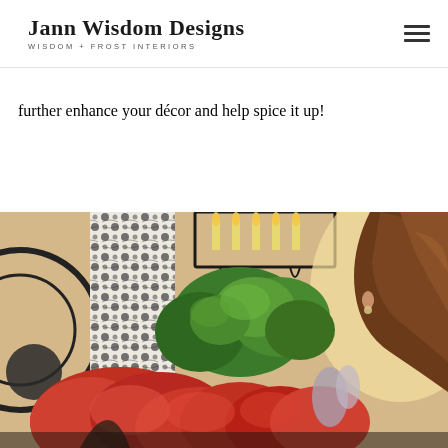Jann Wisdom Designs — WISDOM + FROST INTERIORS
further enhance your décor and help spice it up!
[Figure (photo): Interior design photo showing a decorated room with a black iron candle chandelier, patterned black and white curtains, lush green plants, red/orange flowers, and a woman with long hair partially visible on the right side. A round decorative mirror is visible on the left edge.]